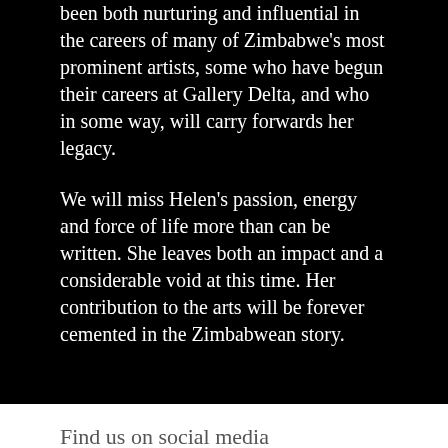been both nurturing and influential in the careers of many of Zimbabwe's most prominent artists, some who have begun their careers at Gallery Delta, and who in some way, will carry forwards her legacy.
We will miss Helen's passion, energy and force of life more than can be written. She leaves both an impact and a considerable void at this time. Her contribution to the arts will be forever cemented in the Zimbabwean story.
Find us on social media
[Figure (illustration): Facebook and Instagram social media icons in green/olive color, positioned on the right side]
Sign up for the newsletter